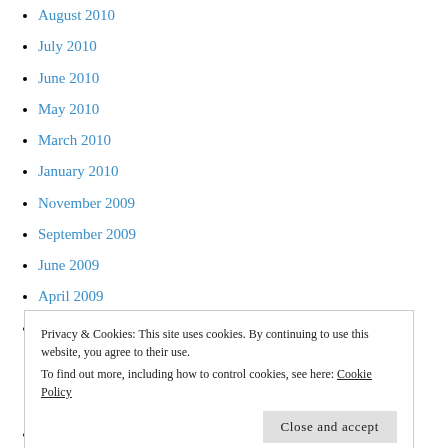August 2010
July 2010
June 2010
May 2010
March 2010
January 2010
November 2009
September 2009
June 2009
April 2009
March 2009
Privacy & Cookies: This site uses cookies. By continuing to use this website, you agree to their use.
To find out more, including how to control cookies, see here: Cookie Policy
October 2008